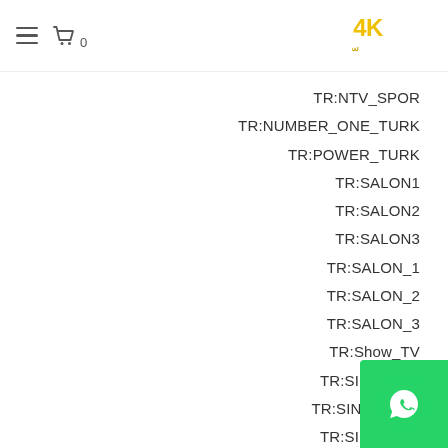Menu | Cart 0 | 4K Smarterz Logo
TR:NTV_SPOR
TR:NUMBER_ONE_TURK
TR:POWER_TURK
TR:SALON1
TR:SALON2
TR:SALON3
TR:SALON_1
TR:SALON_2
TR:SALON_3
TR:Show_TV
TR:SINEMA_1
TR:SINEMA_10
TR:SINEMA_2
TR:SINEMA_3
TR:SINEMA_4
TR:SINEMA_5